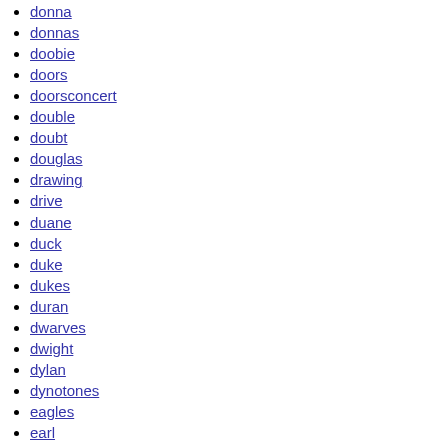dolly
donna
donnas
doobie
doors
doorsconcert
double
doubt
douglas
drawing
drive
duane
duck
duke
dukes
duran
dwarves
dwight
dylan
dynotones
eagles
earl
earliest
early
earth
eddie
eddy
edith
editi...